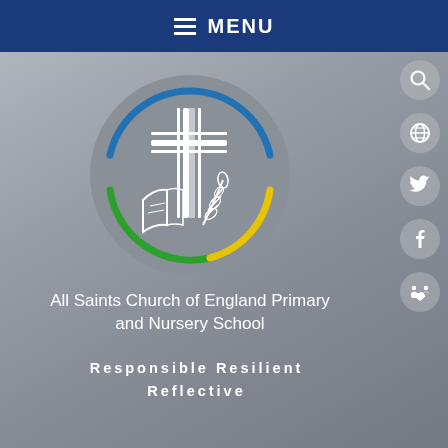MENU
[Figure (logo): All Saints Church of England Primary and Nursery School circular logo featuring a cross, open book, and wheat/leaf branch, surrounded by a blue, yellow, and green circle on a grey background]
All Saints Church of England Primary and Nursery School
Responsible Resilient Reflective